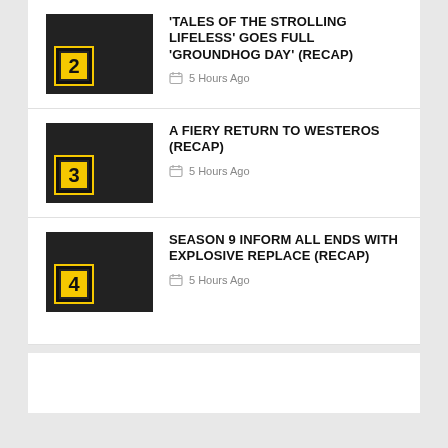'TALES OF THE STROLLING LIFELESS' GOES FULL 'GROUNDHOG DAY' (RECAP) — 5 Hours Ago
A FIERY RETURN TO WESTEROS (RECAP) — 5 Hours Ago
SEASON 9 INFORM ALL ENDS WITH EXPLOSIVE REPLACE (RECAP) — 5 Hours Ago